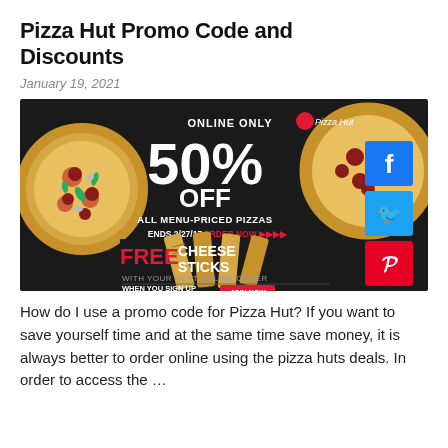Pizza Hut Promo Code and Discounts
January 19, 2021
[Figure (photo): Pizza Hut promotional advertisement banner showing 50% off online only deal for all menu-priced pizzas ending 2/27/17, and free cheese sticks with next online order when signing up for Hut Lovers. Social media share buttons for Facebook, Twitter, and Pinterest on the right side.]
How do I use a promo code for Pizza Hut? If you want to save yourself time and at the same time save money, it is always better to order online using the pizza huts deals. In order to access the …